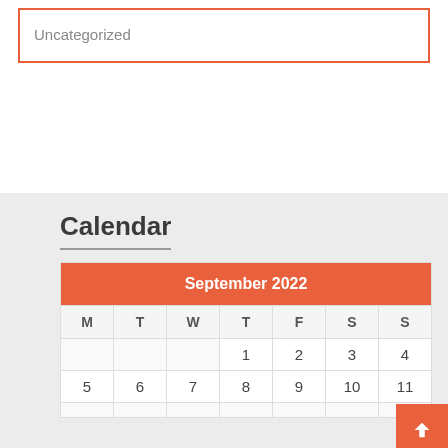Uncategorized
Calendar
| M | T | W | T | F | S | S |
| --- | --- | --- | --- | --- | --- | --- |
|  |  |  | 1 | 2 | 3 | 4 |
| 5 | 6 | 7 | 8 | 9 | 10 | 11 |
|  |  |  |  |  |  |  |